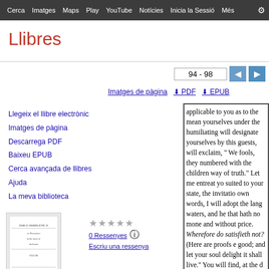Cerca | Imatges | Maps | Play | YouTube | Notícies | Inicia la Sessió | Més
Llibres
94 - 98
Imatges de pàgina  ⬇ PDF  ⬇ EPUB
Llegeix el llibre electrònic
Imatges de pàgina
Descarrega PDF
Baixeu EPUB
Cerca avançada de llibres
Ajuda
La meva biblioteca
[Figure (illustration): Book cover thumbnail for Horae homileticae]
★★★★★
0 Ressenyes ⓘ
Escriu una ressenya
applicable to you as to the mean yourselves under the humiliating will designate yourselves by this guests, will exclaim, " We fools, they numbered with the children way of truth." Let me entreat yo suited to your state, the invitatio own words, I will adopt the lang waters, and he that hath no mone and without price. Wherefore do satisfieth not? (Here are proofs e good; and let your soul delight it shall live." You will find, at the d messengers: A foolish and aband sweet, and bread eaten in secret
Horæ homileticæ, or Discourses, in the form of skeletons ..., Volum